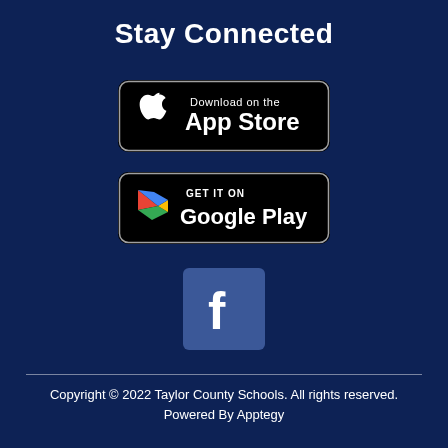Stay Connected
[Figure (logo): Download on the App Store badge — black rounded rectangle with Apple logo and text 'Download on the App Store']
[Figure (logo): Get it on Google Play badge — black rounded rectangle with Google Play triangle logo and text 'GET IT ON Google Play']
[Figure (logo): Facebook icon — blue square with white lowercase f]
Copyright © 2022 Taylor County Schools. All rights reserved.
Powered By Apptegy